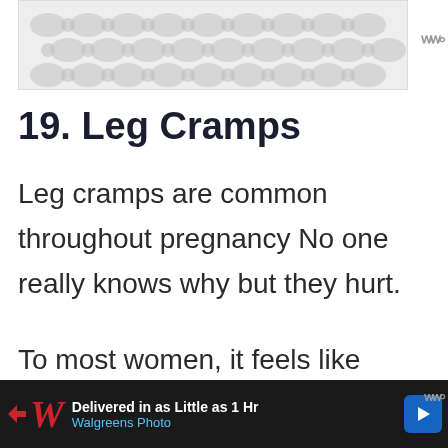[Figure (other): Advertisement banner with decorative pattern background at top of page]
19. Leg Cramps
Leg cramps are common throughout pregnancy No one really knows why but they hurt.
To most women, it feels like sharp shooting pains in the calves. Try to increase your potassium and
[Figure (other): Walgreens advertisement banner at bottom: Delivered in as Little as 1 Hr, Walgreens Photo]